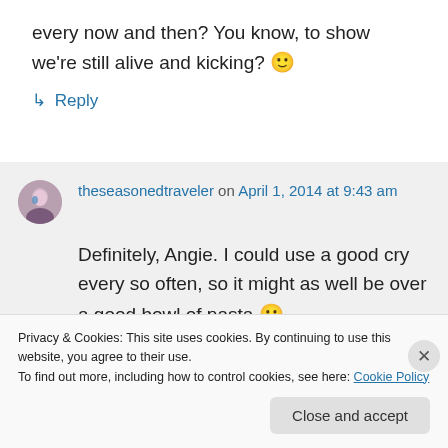every now and then? You know, to show we're still alive and kicking? 🙂
↳ Reply
theseasonedtraveler on April 1, 2014 at 9:43 am
Definitely, Angie. I could use a good cry every so often, so it might as well be over a good bowl of pasta 🙂
Privacy & Cookies: This site uses cookies. By continuing to use this website, you agree to their use. To find out more, including how to control cookies, see here: Cookie Policy